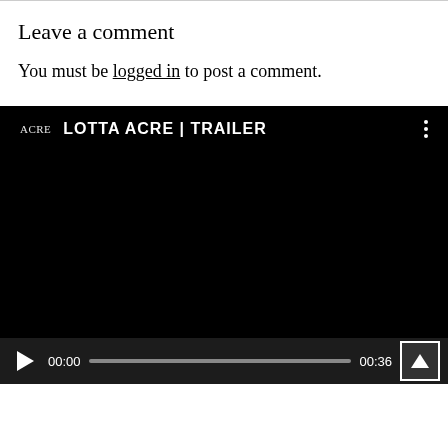Leave a comment
You must be logged in to post a comment.
[Figure (screenshot): Video player showing 'LOTTA ACRE | TRAILER' with ACRE branding. Black background with video controls showing play button, time 00:00, progress bar, end time 00:36, and fullscreen button.]